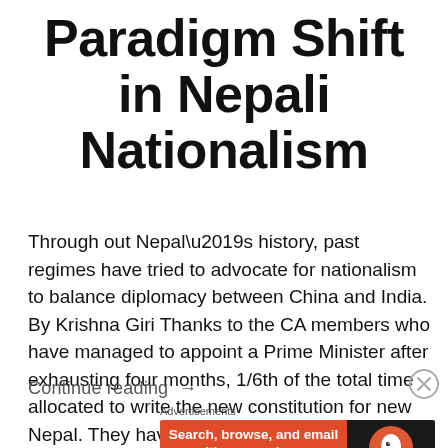Paradigm Shift in Nepali Nationalism
Through out Nepal’s history, past regimes have tried to advocate for nationalism to balance diplomacy between China and India. By Krishna Giri Thanks to the CA members who have managed to appoint a Prime Minister after exhausting four months, 1/6th of the total time allocated to write the new constitution for new Nepal. They have
Continue reading →
[Figure (other): Close/dismiss button (circled X) in the top right corner]
Advertisements
[Figure (screenshot): DuckDuckGo advertisement banner: orange left panel with text 'Search, browse, and email with more privacy. All in One Free App' and dark right panel with DuckDuckGo logo and name.]